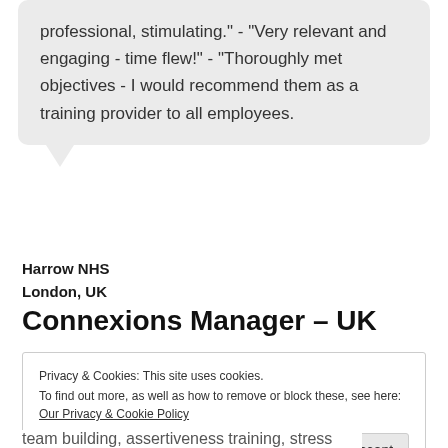professional, stimulating." - "Very relevant and engaging - time flew!" - "Thoroughly met objectives - I would recommend them as a training provider to all employees.
Harrow NHS
London, UK
Connexions Manager – UK
Privacy & Cookies: This site uses cookies.
To find out more, as well as how to remove or block these, see here: Our Privacy & Cookie Policy
Close and accept
team building, assertiveness training, stress